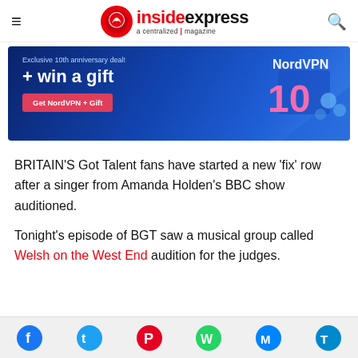insidexpress a centralized magazine
[Figure (infographic): NordVPN advertisement banner: 'Exclusive 10th anniversary deal! + win a gift' with a red 'Get NordVPN + Gift' button and a 3D '10' graphic on a dark blue background.]
BRITAIN'S Got Talent fans have started a new 'fix' row after a singer from Amanda Holden's BBC show auditioned.
Tonight's episode of BGT saw a musical group called Welsh on the West End audition for the judges.
[Figure (infographic): Social media share icons: Facebook, Twitter, Pinterest, WhatsApp, Messenger, Telegram]